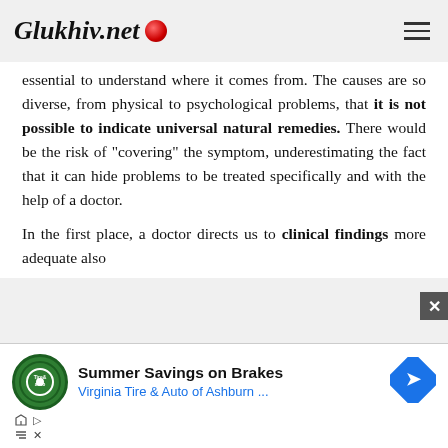Glukhiv.net
essential to understand where it comes from. The causes are so diverse, from physical to psychological problems, that it is not possible to indicate universal natural remedies. There would be the risk of "covering" the symptom, underestimating the fact that it can hide problems to be treated specifically and with the help of a doctor.

In the first place, a doctor directs us to clinical findings more adequate also based on our possible health conditions...
[Figure (infographic): Advertisement banner for Virginia Tire & Auto of Ashburn – Summer Savings on Brakes, with tire/auto logo and blue diamond arrow icon]